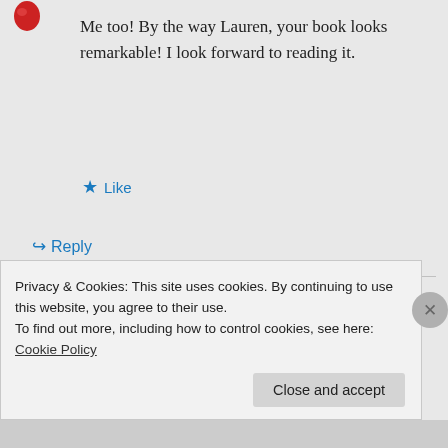[Figure (photo): Small red jelly bean avatar icon at top left]
Me too! By the way Lauren, your book looks remarkable! I look forward to reading it.
★ Like
↪ Reply
[Figure (photo): Round avatar photo of a woman with dark hair]
laurenc129 on May 17, 2012 at 4:39 am
Privacy & Cookies: This site uses cookies. By continuing to use this website, you agree to their use.
To find out more, including how to control cookies, see here: Cookie Policy
Close and accept